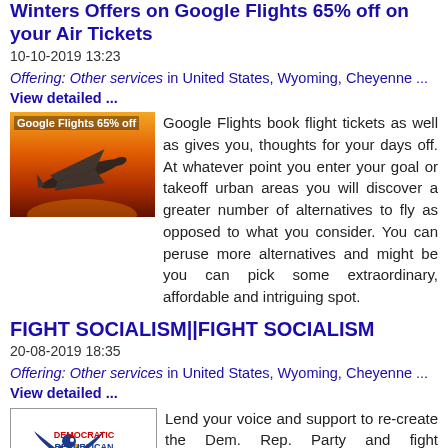Winters Offers on Google Flights 65% off on your Air Tickets
10-10-2019 13:23
Offering: Other services in United States, Wyoming, Cheyenne ... View detailed ...
[Figure (photo): Photo of airplane silhouetted against orange sunset sky with label 'Google Flights 65% off']
Google Flights book flight tickets as well as gives you, thoughts for your days off. At whatever point you enter your goal or takeoff urban areas you will discover a greater number of alternatives to fly as opposed to what you consider. You can peruse more alternatives and might be you can pick some extraordinary, affordable and intriguing spot.
FIGHT SOCIALISM||FIGHT SOCIALISM
20-08-2019 18:35
Offering: Other services in United States, Wyoming, Cheyenne ... View detailed ...
[Figure (logo): Democratic Republican Party of America logo with eagle and stars]
Lend your voice and support to re-create the Dem. Rep. Party and fight American socialism! Visit: https://demreps.org Contact: america@demreps.org.
Family Law Firm Miami